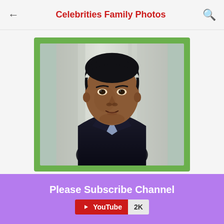Celebrities Family Photos
[Figure (photo): Headshot of an Indian man in a dark blazer against a blurred indoor background with green-framed border]
Please Subscribe Channel
YouTube 2K